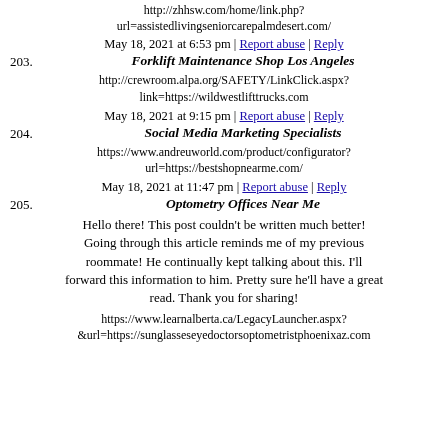http://zhhsw.com/home/link.php?url=assistedlivingseniorcarepalmdesert.com/
May 18, 2021 at 6:53 pm | Report abuse | Reply
203. Forklift Maintenance Shop Los Angeles
http://crewroom.alpa.org/SAFETY/LinkClick.aspx?link=https://wildwestlifttrucks.com
May 18, 2021 at 9:15 pm | Report abuse | Reply
204. Social Media Marketing Specialists
https://www.andreuworld.com/product/configurator?url=https://bestshopnearme.com/
May 18, 2021 at 11:47 pm | Report abuse | Reply
205. Optometry Offices Near Me
Hello there! This post couldn’t be written much better! Going through this article reminds me of my previous roommate! He continually kept talking about this. I’ll forward this information to him. Pretty sure he’ll have a great read. Thank you for sharing!
https://www.learnalberta.ca/LegacyLauncher.aspx?&url=https://sunglasseseyedoctorsoptometristphoenixaz.com